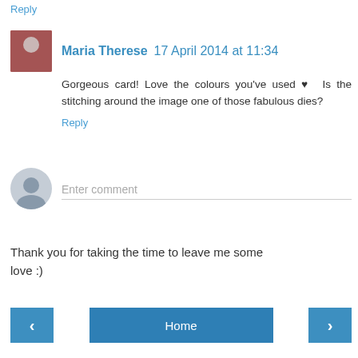Reply
Maria Therese  17 April 2014 at 11:34
Gorgeous card! Love the colours you've used ♥  Is the stitching around the image one of those fabulous dies?
Reply
[Figure (other): Comment input area with placeholder avatar silhouette and text field saying 'Enter comment']
Thank you for taking the time to leave me some love :)
[Figure (other): Navigation buttons: left arrow, Home, right arrow]
View web version
About Me